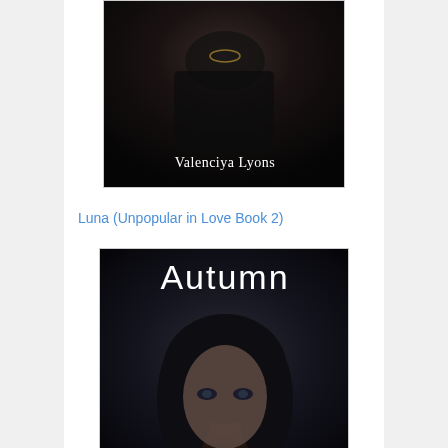[Figure (photo): Book cover showing a woman in dark clothing with a necklace and the author name 'Valenciya Lyons' in white text at the bottom]
Luna (Unpopular in Love Book 2)
[Figure (photo): Book cover titled 'Autumn' showing a close-up face of a young woman with dark hair and intense eyes against a dark background]